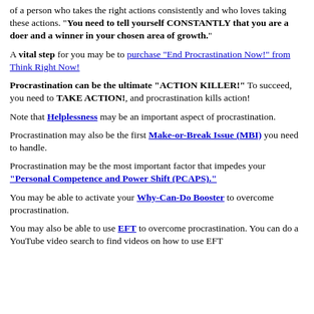of a person who takes the right actions consistently and who loves taking these actions. "You need to tell yourself CONSTANTLY that you are a doer and a winner in your chosen area of growth."
A vital step for you may be to purchase "End Procrastination Now!" from Think Right Now!
Procrastination can be the ultimate "ACTION KILLER!" To succeed, you need to TAKE ACTION!, and procrastination kills action!
Note that Helplessness may be an important aspect of procrastination.
Procrastination may also be the first Make-or-Break Issue (MBI) you need to handle.
Procrastination may be the most important factor that impedes your "Personal Competence and Power Shift (PCAPS)."
You may be able to activate your Why-Can-Do Booster to overcome procrastination.
You may also be able to use EFT to overcome procrastination. You can do a YouTube video search to find videos on how to use EFT